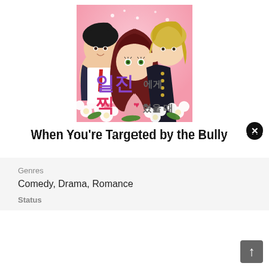[Figure (illustration): Manga/webtoon cover art showing three characters: a dark-haired young man in a suit with red tie on the left, a red-brown haired girl with green eyes in the center, and a blonde young man in a dark uniform on the right. Pink background with white flowers at the bottom. Korean title text '일진에게 찍혔을 때' displayed in purple and pink lettering on the cover.]
When You're Targeted by the Bully
Genres
Comedy, Drama, Romance
Status